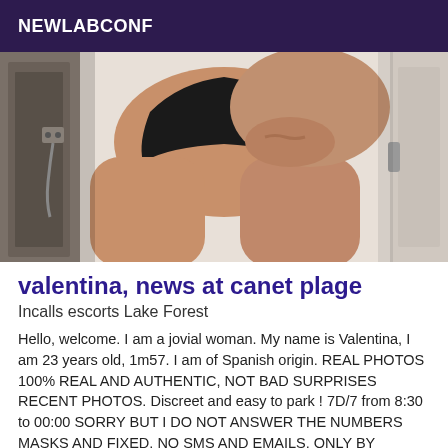NEWLABCONF
[Figure (photo): Partial photo of a woman in a bathroom setting, cropped to show torso and legs]
valentina, news at canet plage
Incalls escorts Lake Forest
Hello, welcome. I am a jovial woman. My name is Valentina, I am 23 years old, 1m57. I am of Spanish origin. REAL PHOTOS 100% REAL AND AUTHENTIC, NOT BAD SURPRISES RECENT PHOTOS. Discreet and easy to park ! 7D/7 from 8:30 to 00:00 SORRY BUT I DO NOT ANSWER THE NUMBERS MASKS AND FIXED, NO SMS AND EMAILS. ONLY BY PHONE